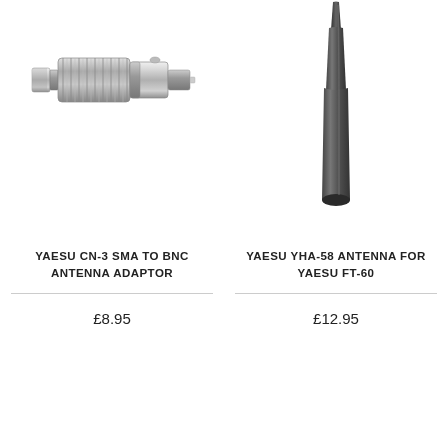[Figure (photo): Silver metal SMA to BNC antenna adaptor connector, cylindrical shape with knurled grip]
YAESU CN-3 SMA TO BNC ANTENNA ADAPTOR
£8.95
[Figure (photo): Black rubber stubby antenna for Yaesu FT-60 handheld radio, tapered cylindrical shape]
YAESU YHA-58 ANTENNA FOR YAESU FT-60
£12.95